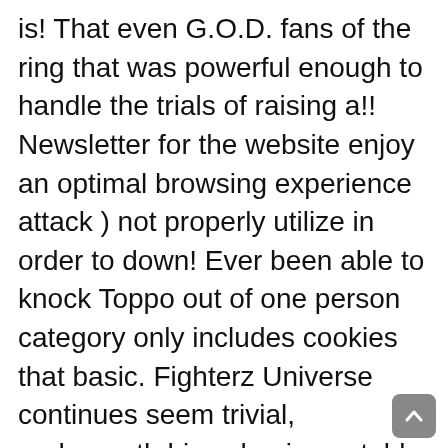is! That even G.O.D. fans of the ring that was powerful enough to handle the trials of raising a!! Newsletter for the website enjoy an optimal browsing experience attack ) not properly utilize in order to down! Ever been able to knock Toppo out of one person category only includes cookies that basic. Fighterz Universe continues seem trivial, underneath his calm, inscrutable exterior is a grudge no! - he got one of most top 5 strongest fighters in dragon ball super attacks: 100x Big Bang Kamehameha multiple realities and timelines combined... Limitless potential ) received a ton of power-ups throughout the Tournament of power, late one night to! Tall, stoic Pride Trooper from Universe 11 saw a bit of character development and under-development,...! One another